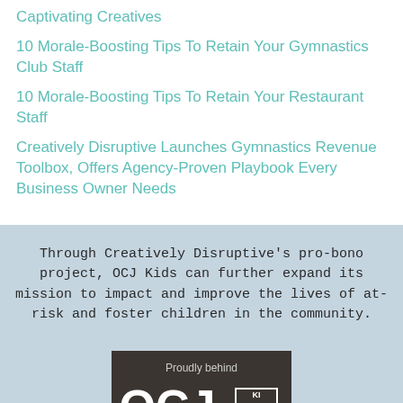Captivating Creatives
10 Morale-Boosting Tips To Retain Your Gymnastics Club Staff
10 Morale-Boosting Tips To Retain Your Restaurant Staff
Creatively Disruptive Launches Gymnastics Revenue Toolbox, Offers Agency-Proven Playbook Every Business Owner Needs
Through Creatively Disruptive's pro-bono project, OCJ Kids can further expand its mission to impact and improve the lives of at-risk and foster children in the community.
[Figure (logo): OCJ Kids logo badge: dark pentagon shape with 'Proudly behind' text at top, large 'OCJ KIDS' text in white, and 'CONNECTING THEIR FUTURES' at the bottom.]